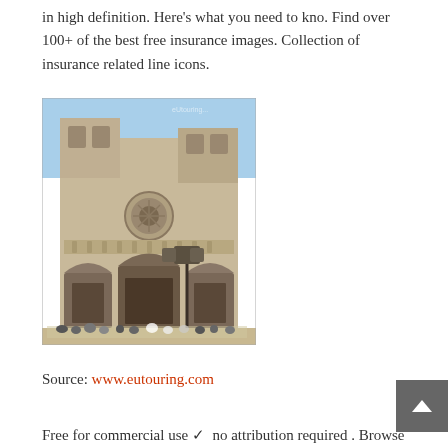in high definition. Here's what you need to kno. Find over 100+ of the best free insurance images. Collection of insurance related line icons.
[Figure (photo): Photograph of Notre-Dame Cathedral facade in Paris, France. Shows the Gothic architecture with twin towers, rose window, three ornate portals, and tourists gathered at the base. A street lamp is visible in the foreground.]
Source: www.eutouring.com
Free for commercial use ✓ no attribution required . Browse